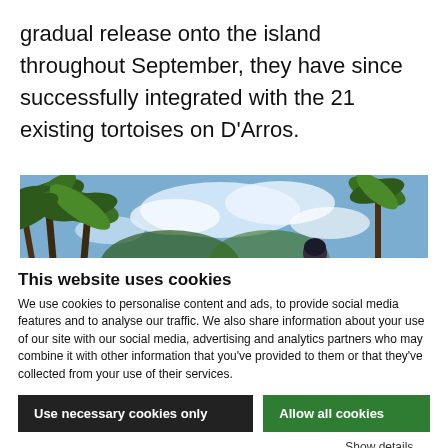gradual release onto the island throughout September, they have since successfully integrated with the 21 existing tortoises on D'Arros.
[Figure (photo): Outdoor photograph showing a person standing among tall palm trees under a partly cloudy blue sky, with lush tropical vegetation in the background.]
This website uses cookies
We use cookies to personalise content and ads, to provide social media features and to analyse our traffic. We also share information about your use of our site with our social media, advertising and analytics partners who may combine it with other information that you've provided to them or that they've collected from your use of their services.
Use necessary cookies only
Allow all cookies
Show details